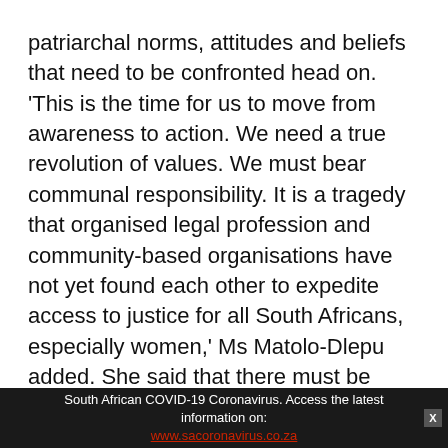patriarchal norms, attitudes and beliefs that need to be confronted head on. 'This is the time for us to move from awareness to action. We need a true revolution of values. We must bear communal responsibility. It is a tragedy that organised legal profession and community-based organisations have not yet found each other to expedite access to justice for all South Africans, especially women,' Ms Matolo-Dlepu added. She said that there must be collaborative measures to make sure that there is access to justice for all and reach out to vulnerable women, to assist them and there must be educational programmes on access to justice.
Director-General at the Department of Justice and
South African COVID-19 Coronavirus. Access the latest information on: www.sacoronavirus.co.za